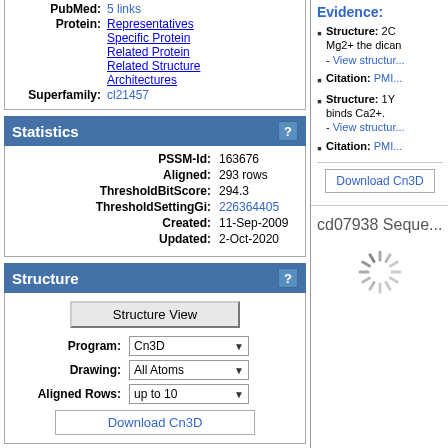PubMed: 5 links
Protein: Representatives
Specific Protein
Related Protein
Related Structure
Architectures
Superfamily: cl21457
Statistics ?
| PSSM-Id: | 163676 |
| Aligned: | 293 rows |
| ThresholdBitScore: | 294.3 |
| ThresholdSettingGi: | 226364405 |
| Created: | 11-Sep-2009 |
| Updated: | 2-Oct-2020 |
Structure ?
Structure View
Program: Cn3D
Drawing: All Atoms
Aligned Rows: up to 10
Download Cn3D
Evidence:
Structure: 2C... Mg2+ the dican... - View structure
Citation: PMI...
Structure: 1Y... binds Ca2+. - View structure
Citation: PMI...
Download Cn3D
cd07938 Seque...